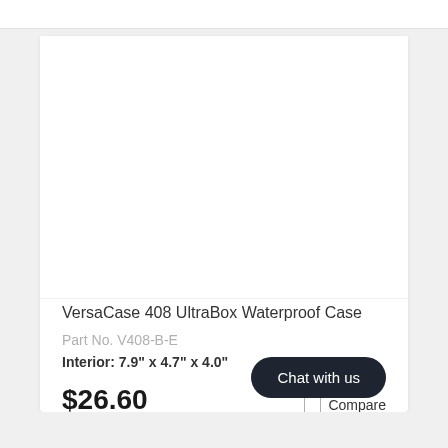[Figure (photo): White blank product image area for VersaCase 408 UltraBox Waterproof Case]
VersaCase 408 UltraBox Waterproof Case
Part No. V408-B-E
Interior: 7.9" x 4.7" x 4.0"
$26.60
Compare
Buy Now
Chat with us